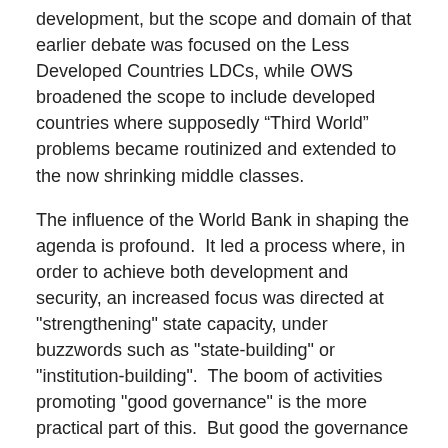development, but the scope and domain of that earlier debate was focused on the Less Developed Countries LDCs, while OWS broadened the scope to include developed countries where supposedly “Third World” problems became routinized and extended to the now shrinking middle classes.
The influence of the World Bank in shaping the agenda is profound.  It led a process where, in order to achieve both development and security, an increased focus was directed at "strengthening" state capacity, under buzzwords such as "state-building" or "institution-building".  The boom of activities promoting "good governance" is the more practical part of this.  But good the governance initiative has been criticized as taking the politics out of the mix through a sterilization of the processes and procedures of government, and through the privileging of technocrats over mere politicians.  The technical aspects of governing are where the emphases lie, instead of the pull and haul and nitty-gritty of